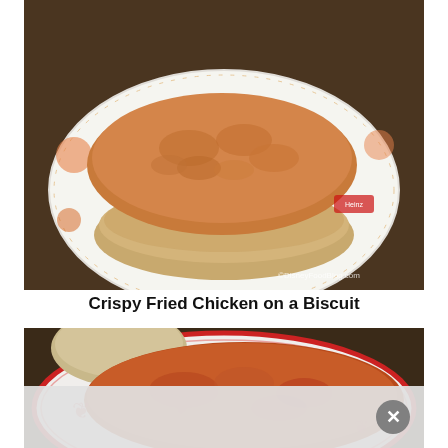[Figure (photo): Close-up photo of a crispy fried chicken patty on a biscuit, served on a white decorative plate with red accents and a Heinz logo visible. Watermark reads ©DisneyFoodBlog.com]
Crispy Fried Chicken on a Biscuit
[Figure (photo): Close-up photo of a fried chicken patty covered in orange/red sauce on a decorative white and red plate, with a plain biscuit visible in the background. Bottom portion shows a partially visible advertisement overlay with an X close button.]